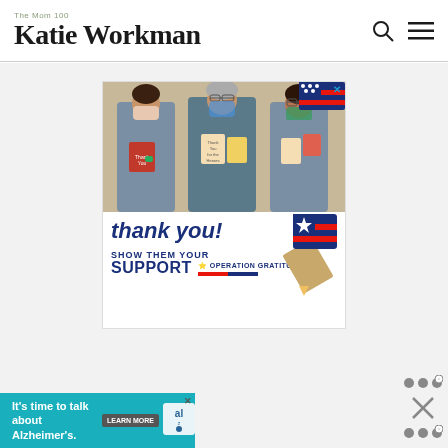The Mom 100 | Katie Workman
[Figure (photo): Advertisement for Operation Gratitude showing three healthcare workers in scrubs and masks holding thank-you cards, with text 'thank you! SHOW THEM YOUR SUPPORT OPERATION GRATITUDE']
[Figure (photo): Advertisement banner: It's time to talk about Alzheimer's. LEARN MORE. Alzheimer's Association logo.]